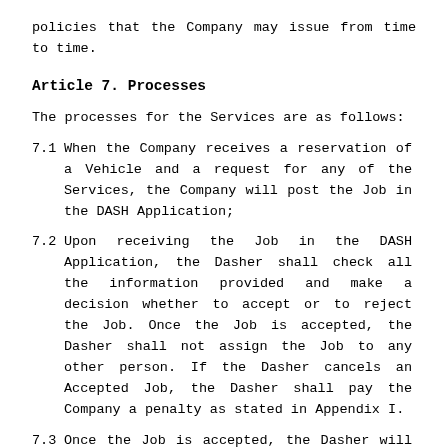policies that the Company may issue from time to time.
Article 7. Processes
The processes for the Services are as follows:
7.1    When the Company receives a reservation of a Vehicle and a request for any of the Services, the Company will post the Job in the DASH Application;
7.2    Upon receiving the Job in the DASH Application, the Dasher shall check all the information provided and make a decision whether to accept or to reject the Job. Once the Job is accepted, the Dasher shall not assign the Job to any other person. If the Dasher cancels an Accepted Job, the Dasher shall pay the Company a penalty as stated in Appendix I.
7.3    Once the Job is accepted, the Dasher will be requested to proceed to the Designated Location to collect the Vehicle.